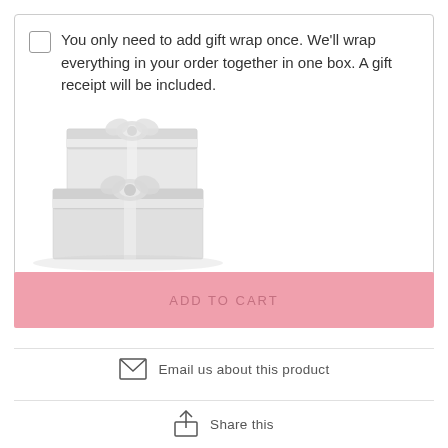You only need to add gift wrap once. We'll wrap everything in your order together in one box. A gift receipt will be included.
[Figure (photo): Two white gift-wrapped boxes stacked, with white ribbon bows on each.]
ADD TO CART
Email us about this product
Share this